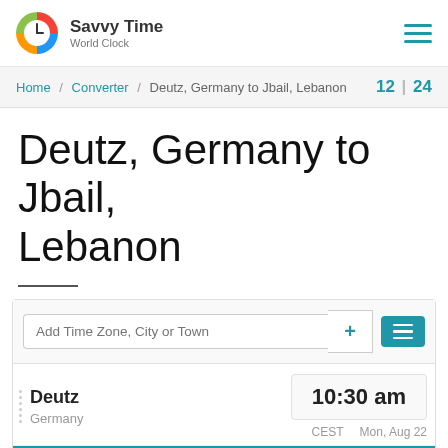Savvy Time World Clock
Home / Converter / Deutz, Germany to Jbail, Lebanon   12 | 24
Deutz, Germany to Jbail, Lebanon
Add Time Zone, City or Town
| City | Country | Time | Timezone | Date |
| --- | --- | --- | --- | --- |
| Deutz | Germany | 10:30 am | CEST | Mon, Aug 22 |